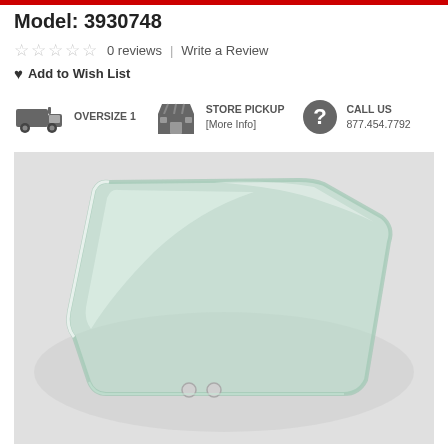Model: 3930748
☆ ☆ ☆ ☆ ☆  0 reviews  |  Write a Review
♥ Add to Wish List
OVERSIZE 1
STORE PICKUP [More Info]
CALL US 877.454.7792
[Figure (photo): A car door window glass panel, light green tinted, trapezoid shape with rounded corners, two small holes at the bottom, shown at an angle on a light gray background.]